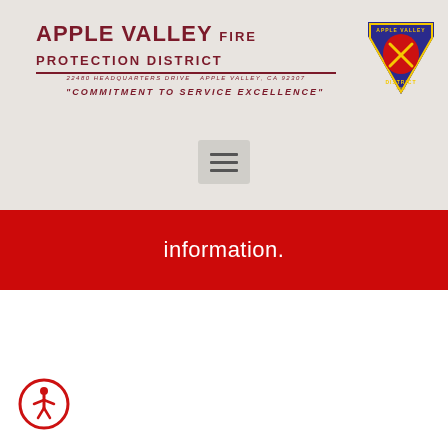[Figure (logo): Apple Valley Fire Protection District logo with badge/crest on right side, organization name and tagline]
[Figure (other): Hamburger menu button (three horizontal lines)]
information.
[Figure (other): Accessibility (wheelchair) icon circle at bottom left]